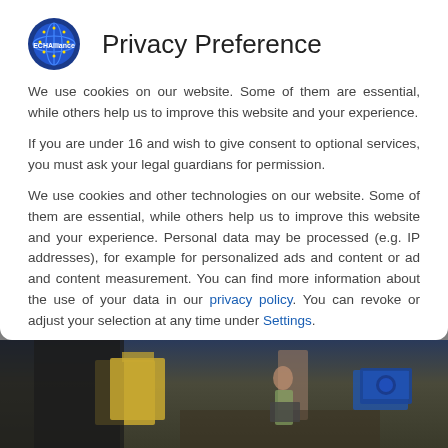Privacy Preference
We use cookies on our website. Some of them are essential, while others help us to improve this website and your experience.
If you are under 16 and wish to give consent to optional services, you must ask your legal guardians for permission.
We use cookies and other technologies on our website. Some of them are essential, while others help us to improve this website and your experience. Personal data may be processed (e.g. IP addresses), for example for personalized ads and content or ad and content measurement. You can find more information about the use of your data in our privacy policy. You can revoke or adjust your selection at any time under Settings.
Essential (checked)
Statistics (unchecked)
External Media (unchecked)
[Figure (photo): Background photo of a conference room or lecture hall with a presenter visible]